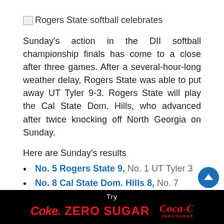[Figure (photo): Rogers State softball celebrates - broken image placeholder with alt text]
Sunday's action in the DII softball championship finals has come to a close after three games. After a several-hour-long weather delay, Rogers State was able to put away UT Tyler 9-3. Rogers State will play the Cal State Dom. Hills, who advanced after twice knocking off North Georgia on Sunday.
Here are Sunday's results
No. 5 Rogers State 9, No. 1 UT Tyler 3
No. 8 Cal State Dom. Hills 8, No. 7 North Georgia 6
No. 8 Cal State Dom. Hills 7, No. 7 North Georgia 5 (CSDH wins series 2-1)
The DII softball championship series will begin Monday at 2 p.m. ET. Game 2 is scheduled for Tuesday at 1 p.m. Should
[Figure (logo): Try Coke Zero Sugar - Coca-Cola Zero Sugar advertisement banner]